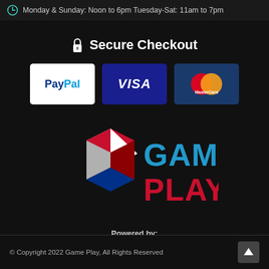Monday & Sunday: Noon to 6pm Tuesday-Sat: 11am to 7pm
Secure Checkout
[Figure (logo): Payment logos: PayPal, Visa, MasterCard badges]
[Figure (logo): Game Play store logo with hexagonal play button shape in red, white, blue and text GAME PLAY]
Powered by:
[Figure (logo): Crystal Commerce logo with heart/diamond icon and green text CRYSTALCOMMERCE]
© Copyright 2022 Game Play, All Rights Reserved